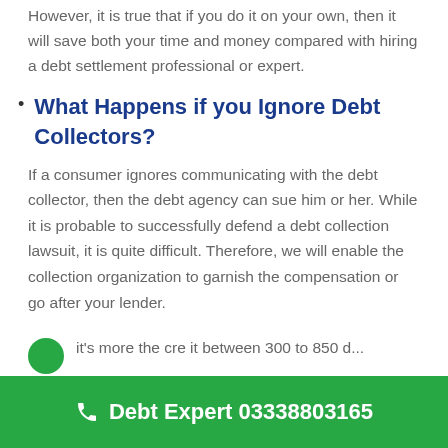However, it is true that if you do it on your own, then it will save both your time and money compared with hiring a debt settlement professional or expert.
What Happens if you Ignore Debt Collectors?
If a consumer ignores communicating with the debt collector, then the debt agency can sue him or her. While it is probable to successfully defend a debt collection lawsuit, it is quite difficult. Therefore, we will enable the collection organization to garnish the compensation or go after your lender.
What is an Acceptable Credit Score?
Debt Expert 03338803165